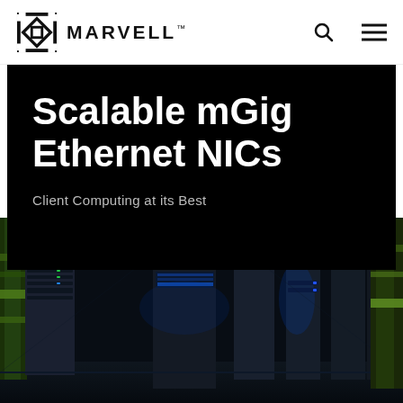[Figure (logo): Marvell logo with stylized M icon and MARVELL wordmark]
Scalable mGig Ethernet NICs
Client Computing at its Best
[Figure (photo): Data center server racks with blue and green LED lighting in a long corridor]